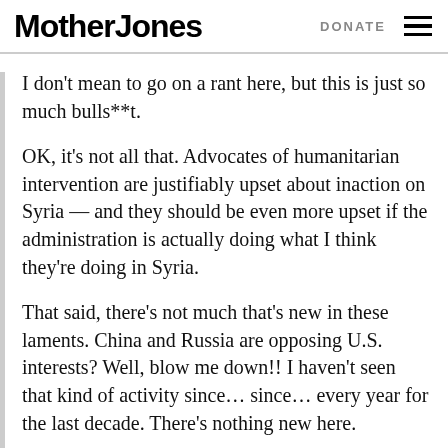Mother Jones  DONATE
I don’t mean to go on a rant here, but this is just so much bulls**t.
OK, it’s not all that. Advocates of humanitarian intervention are justifiably upset about inaction on Syria — and they should be even more upset if the administration is actually doing what I think they’re doing in Syria.
That said, there’s not much that’s new in these laments. China and Russia are opposing U.S. interests? Well, blow me down!! I haven’t seen that kind of activity since… since… every year for the last decade. There’s nothing new here.